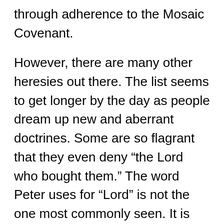through adherence to the Mosaic Covenant.
However, there are many other heresies out there. The list seems to get longer by the day as people dream up new and aberrant doctrines. Some are so flagrant that they even deny “the Lord who bought them.” The word Peter uses for “Lord” is not the one most commonly seen. It is one which signifies a master who possesses unrestricted power and absolute rule and domination.
The startling aspect to Peter’s words is that he did, in fact, deny the Lord. It is something that everyone knew about, and that everyone continues to know. Peter’s desire is that people watch, pay heed, and turn from any such action – even if it is from the most trusted of sources. No matter who it is, if they begin to deny the Lord, the people around him are to also turn from him. Such